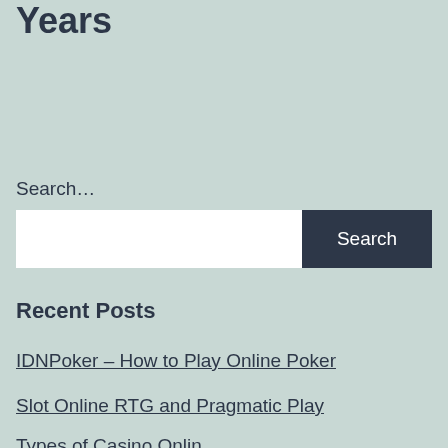Years
Search…
[Search input field] Search
Recent Posts
IDNPoker – How to Play Online Poker
Slot Online RTG and Pragmatic Play
Types of Casino Online…